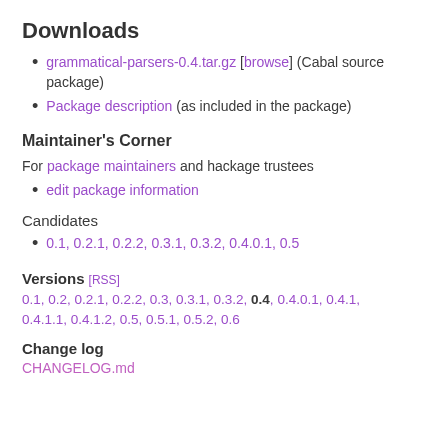Downloads
grammatical-parsers-0.4.tar.gz [browse] (Cabal source package)
Package description (as included in the package)
Maintainer's Corner
For package maintainers and hackage trustees
edit package information
Candidates
0.1, 0.2.1, 0.2.2, 0.3.1, 0.3.2, 0.4.0.1, 0.5
Versions [RSS]
0.1, 0.2, 0.2.1, 0.2.2, 0.3, 0.3.1, 0.3.2, 0.4, 0.4.0.1, 0.4.1, 0.4.1.1, 0.4.1.2, 0.5, 0.5.1, 0.5.2, 0.6
Change log
CHANGELOG.md